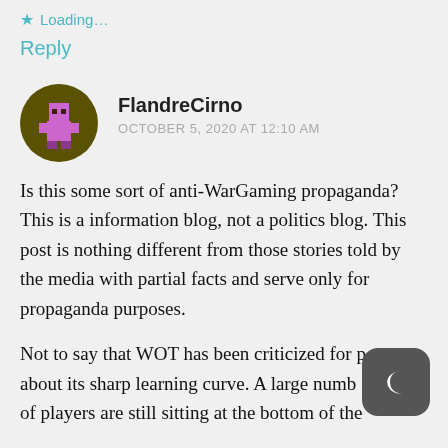Loading...
Reply
[Figure (illustration): Circular avatar with pixel-art style character in purple/pink on olive green background]
FlandreCirno
OCTOBER 5, 2020 AT 12:10 AM
Is this some sort of anti-WarGaming propaganda? This is a information blog, not a politics blog. This post is nothing different from those stories told by the media with partial facts and serve only for propaganda purposes.
Not to say that WOT has been criticized for [p] about its sharp learning curve. A large numb[er] of players are still sitting at the bottom of the